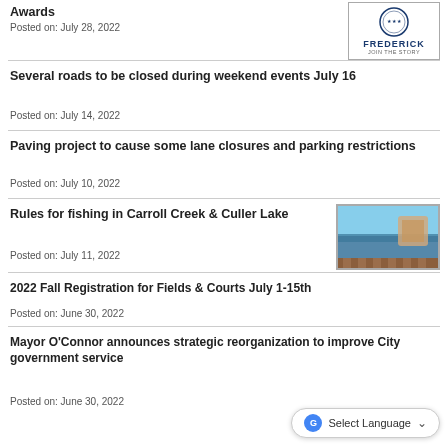Awards
Posted on: July 28, 2022
[Figure (logo): City of Frederick logo with circular seal and text FREDERICK JOIN THE STORY]
Several roads to be closed during weekend events July 16
Posted on: July 14, 2022
Paving project to cause some lane closures and parking restrictions
Posted on: July 10, 2022
Rules for fishing in Carroll Creek & Culler Lake
Posted on: July 11, 2022
[Figure (photo): Photo of Carroll Creek park area with water and brick walkway]
2022 Fall Registration for Fields & Courts July 1-15th
Posted on: June 30, 2022
Mayor O'Connor announces strategic reorganization to improve City government service
Posted on: June 30, 2022